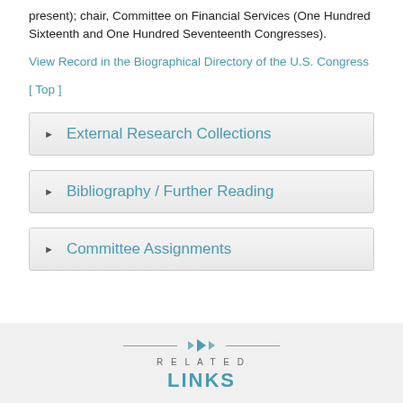present); chair, Committee on Financial Services (One Hundred Sixteenth and One Hundred Seventeenth Congresses).
View Record in the Biographical Directory of the U.S. Congress
[ Top ]
► External Research Collections
► Bibliography / Further Reading
► Committee Assignments
RELATED LINKS